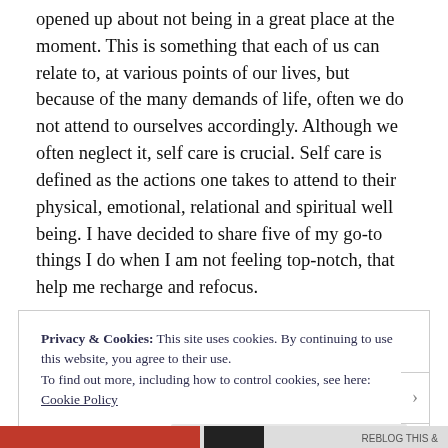opened up about not being in a great place at the moment. This is something that each of us can relate to, at various points of our lives, but because of the many demands of life, often we do not attend to ourselves accordingly. Although we often neglect it, self care is crucial. Self care is defined as the actions one takes to attend to their physical, emotional, relational and spiritual well being. I have decided to share five of my go-to things I do when I am not feeling top-notch, that help me recharge and refocus.
Privacy & Cookies: This site uses cookies. By continuing to use this website, you agree to their use.
To find out more, including how to control cookies, see here: Cookie Policy
Close and accept